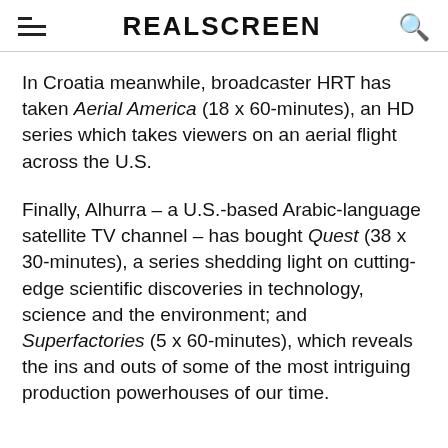REALSCREEN
In Croatia meanwhile, broadcaster HRT has taken Aerial America (18 x 60-minutes), an HD series which takes viewers on an aerial flight across the U.S.
Finally, Alhurra – a U.S.-based Arabic-language satellite TV channel – has bought Quest (38 x 30-minutes), a series shedding light on cutting-edge scientific discoveries in technology, science and the environment; and Superfactories (5 x 60-minutes), which reveals the ins and outs of some of the most intriguing production powerhouses of our time.